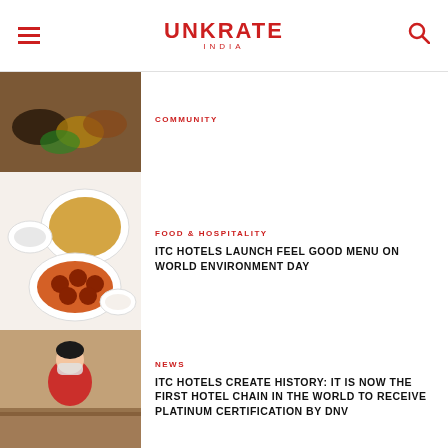UNKRATE INDIA
COMMUNITY
FOOD & HOSPITALITY
ITC HOTELS LAUNCH FEEL GOOD MENU ON WORLD ENVIRONMENT DAY
NEWS
ITC HOTELS CREATE HISTORY: IT IS NOW THE FIRST HOTEL CHAIN IN THE WORLD TO RECEIVE PLATINUM CERTIFICATION BY DNV